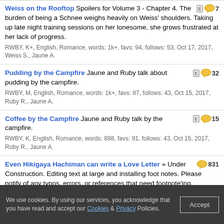Weiss on the Rooftop Spoilers for Volume 3 - Chapter 4. The burden of being a Schnee weighs heavily on Weiss' shoulders. Taking up late night training sessions on her lonesome, she grows frustrated at her lack of progress. RWBY, K+, English, Romance, words: 1k+, favs: 94, follows: 53, Oct 17, 2017, Weiss S., Jaune A. [c] 7
Pudding by the Campfire Jaune and Ruby talk about pudding by the campfire. RWBY, M, English, Romance, words: 1k+, favs: 87, follows: 43, Oct 15, 2017, Ruby R., Jaune A. [c] 32
Coffee by the Campfire Jaune and Ruby talk by the campfire. RWBY, K, English, Romance, words: 898, favs: 91, follows: 43, Oct 15, 2017, Ruby R., Jaune A. [c] 15
Even Hikigaya Hachiman can write a Love Letter » Under Construction. Editing text at large and installing foot notes. Please notify of any typos, errors, or references that need footnote'ing. My Teen Romantic Comedy SNAFU/やはり俺の青春ラブコメはまちがっている。, T, English, Romance & Humor, chapters: 11, words: 77k+, favs: 1k+, follows: 1k+, updated: Sep 10, 2017 published: Feb 14, 2015 831
Happy Meal Ruby drags Jaune to McOzpin's to get a Kid's Happy Meal for the super special limited edition plastic toy that comes with it. RWBY, T, English, Humor, words: 3k+, favs: 72, follows: 22, Jul 20, 2017 [c] 19
We use cookies. By using our services, you acknowledge that you have read and accept our Cookies & Privacy Policies. Accept